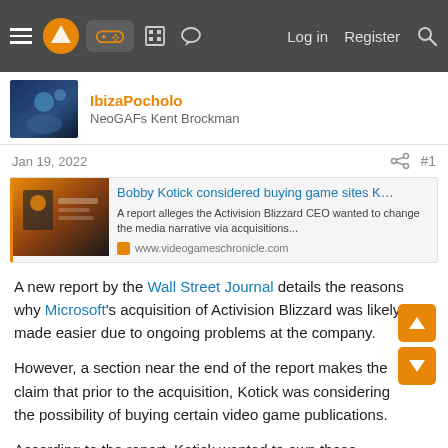Navigation bar with hamburger menu, logo, gamepad icon, building icon, chat icon, Log in, Register, Search
IbizaPocholo
NeoGAFs Kent Brockman
Jan 19, 2022   #1
[Figure (screenshot): Link preview card for article: Bobby Kotick considered buying game sites K… — A report alleges the Activision Blizzard CEO wanted to change the media narrative via acquisitions... — www.videogameschronicle.com]
A new report by the Wall Street Journal details the reasons why Microsoft's acquisition of Activision Blizzard was likely made easier due to ongoing problems at the company.
However, a section near the end of the report makes the claim that prior to the acquisition, Kotick was considering the possibility of buying certain video game publications.
According to the report, Kotick wanted to own these